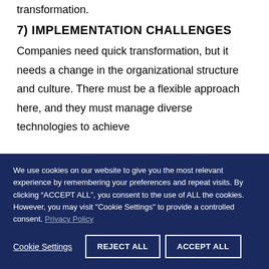transformation.
7) IMPLEMENTATION CHALLENGES
Companies need quick transformation, but it needs a change in the organizational structure and culture. There must be a flexible approach here, and they must manage diverse technologies to achieve
We use cookies on our website to give you the most relevant experience by remembering your preferences and repeat visits. By clicking “ACCEPT ALL”, you consent to the use of ALL the cookies. However, you may visit "Cookie Settings" to provide a controlled consent. Privacy Policy
Cookie Settings | REJECT ALL | ACCEPT ALL